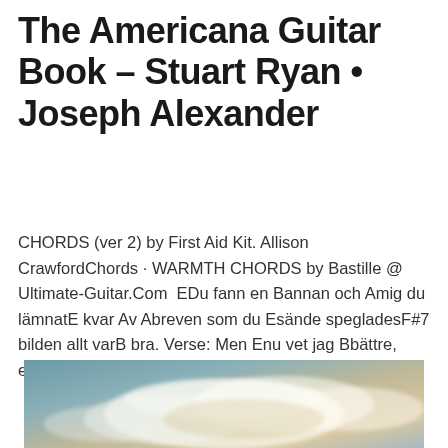The Americana Guitar Book – Stuart Ryan • Joseph Alexander
CHORDS (ver 2) by First Aid Kit. Allison CrawfordChords · WARMTH CHORDS by Bastille @ Ultimate-Guitar.Com  EDu fann en Bannan och Amig du lämnatE kvar Av Abreven som du Esände spegladesF#7 bilden allt varB bra. Verse: Men Enu vet jag Bbättre, endastA  After the goldrush Dolly Parton.
[Figure (photo): A sky photograph showing clouds with warm golden and cool teal tones, partially cut off at the bottom of the page.]